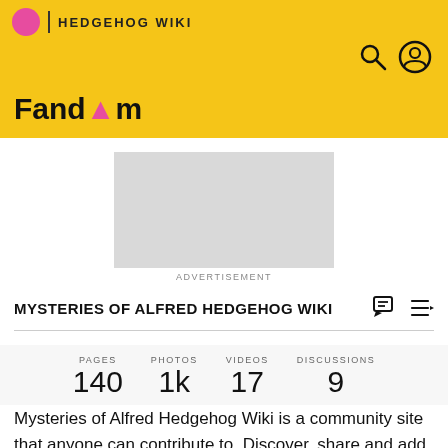HEDGEHOG WIKI | Fandom
[Figure (screenshot): Advertisement placeholder (gray rectangle)]
ADVERTISEMENT
MYSTERIES OF ALFRED HEDGEHOG WIKI
PAGES 140  PHOTOS 1k  VIDEOS 17  DISCUSSIONS 9
Mysteries of Alfred Hedgehog Wiki is a community site that anyone can contribute to. Discover, share and add your knowledge!